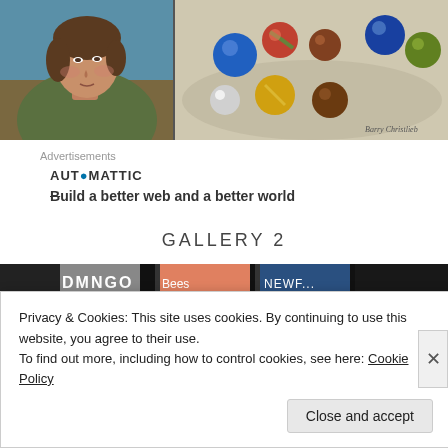[Figure (illustration): Two artworks side by side: left is a painted portrait of a young man with shoulder-length hair wearing a green top against a blue background; right is a still life painting of colorful glass marbles on a beige surface, signed by the artist.]
Advertisements
AUTOMATTIC
Build a better web and a better world
GALLERY 2
[Figure (photo): A horizontal strip showing partial artwork images in a gallery row.]
Privacy & Cookies: This site uses cookies. By continuing to use this website, you agree to their use.
To find out more, including how to control cookies, see here: Cookie Policy
Close and accept